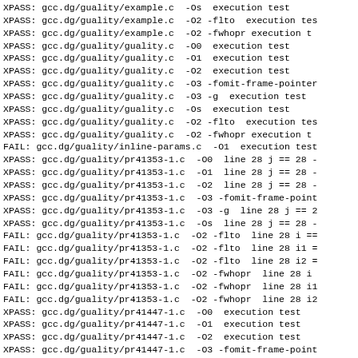XPASS: gcc.dg/guality/example.c  -Os  execution test
XPASS: gcc.dg/guality/example.c  -O2 -flto  execution tes
XPASS: gcc.dg/guality/example.c  -O2 -fwhopr execution t
XPASS: gcc.dg/guality/guality.c  -O0  execution test
XPASS: gcc.dg/guality/guality.c  -O1  execution test
XPASS: gcc.dg/guality/guality.c  -O2  execution test
XPASS: gcc.dg/guality/guality.c  -O3 -fomit-frame-pointer
XPASS: gcc.dg/guality/guality.c  -O3 -g  execution test
XPASS: gcc.dg/guality/guality.c  -Os  execution test
XPASS: gcc.dg/guality/guality.c  -O2 -flto  execution tes
XPASS: gcc.dg/guality/guality.c  -O2 -fwhopr execution t
FAIL: gcc.dg/guality/inline-params.c  -O1  execution test
XPASS: gcc.dg/guality/pr41353-1.c  -O0  line 28 j == 28 -
XPASS: gcc.dg/guality/pr41353-1.c  -O1  line 28 j == 28 -
XPASS: gcc.dg/guality/pr41353-1.c  -O2  line 28 j == 28 -
XPASS: gcc.dg/guality/pr41353-1.c  -O3 -fomit-frame-point
XPASS: gcc.dg/guality/pr41353-1.c  -O3 -g  line 28 j == 2
XPASS: gcc.dg/guality/pr41353-1.c  -Os  line 28 j == 28 -
FAIL: gcc.dg/guality/pr41353-1.c  -O2 -flto  line 28 i ==
FAIL: gcc.dg/guality/pr41353-1.c  -O2 -flto  line 28 i1 =
FAIL: gcc.dg/guality/pr41353-1.c  -O2 -flto  line 28 i2 =
FAIL: gcc.dg/guality/pr41353-1.c  -O2 -fwhopr  line 28 i
FAIL: gcc.dg/guality/pr41353-1.c  -O2 -fwhopr  line 28 i1
FAIL: gcc.dg/guality/pr41353-1.c  -O2 -fwhopr  line 28 i2
XPASS: gcc.dg/guality/pr41447-1.c  -O0  execution test
XPASS: gcc.dg/guality/pr41447-1.c  -O1  execution test
XPASS: gcc.dg/guality/pr41447-1.c  -O2  execution test
XPASS: gcc.dg/guality/pr41447-1.c  -O3 -fomit-frame-point
XPASS: gcc.dg/guality/pr41447-1.c  -O3 -g  execution test
XPASS: gcc.dg/guality/pr41447-1.c  -Os  execution test